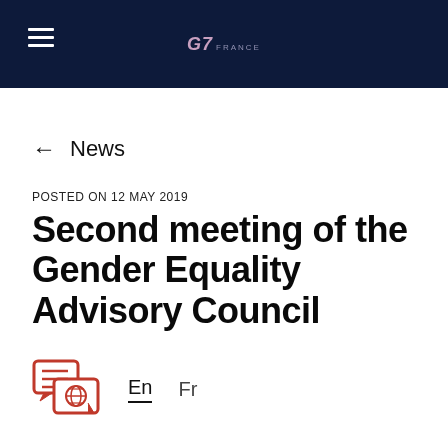G7 FRANCE
← News
POSTED ON 12 MAY 2019
Second meeting of the Gender Equality Advisory Council
En  Fr